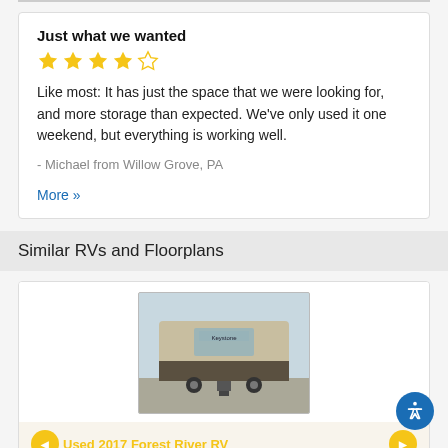Just what we wanted
[Figure (other): 4 out of 5 star rating shown with yellow stars]
Like most: It has just the space that we were looking for, and more storage than expected. We've only used it one weekend, but everything is working well.
- Michael from Willow Grove, PA
More »
Similar RVs and Floorplans
[Figure (photo): Photo of a travel trailer RV (Keystone brand) parked, viewed from front]